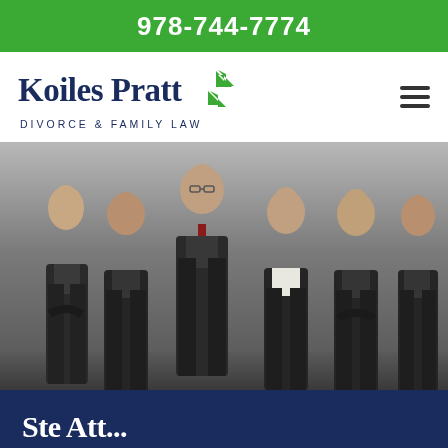978-744-7774
[Figure (logo): Koiles Pratt Divorce & Family Law logo with green arrow/chevron icon]
[Figure (photo): Group photo of six legal professionals in dark suits standing against a gray background]
Ste Att...